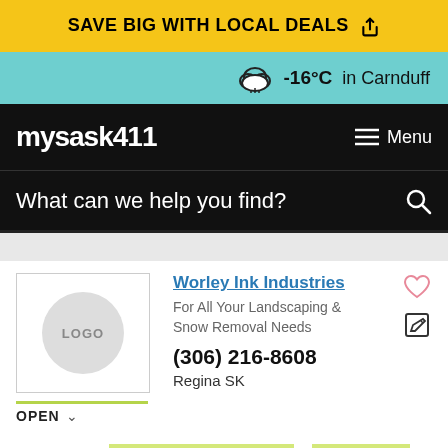SAVE BIG WITH LOCAL DEALS
-16°C in Carnduff
[Figure (logo): mysask411 logo in white text on black background]
What can we help you find?
Worley Ink Industries
For All Your Landscaping & Snow Removal Needs
(306) 216-8608
Regina SK
OPEN
Matched on: Flood Damage Restoration & Floodproofing